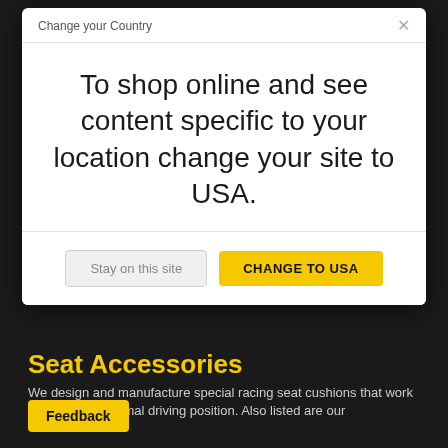Change your Country
To shop online and see content specific to your location change your site to USA.
Stay on this site
CHANGE TO USA
Seat Accessories
We design and manufacture special racing seat cushions that work to deliver an optimal driving position. Also listed are our
Feedback